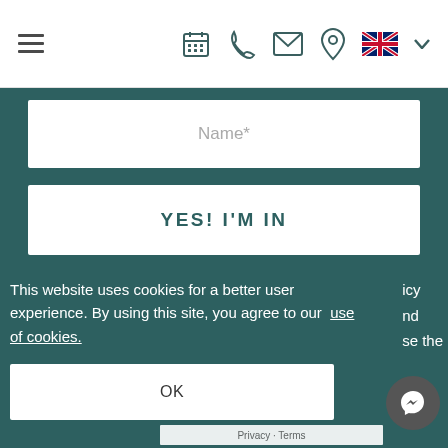Navigation header with hamburger menu, calendar icon, phone icon, email icon, location icon, UK flag with chevron
[Figure (screenshot): Name* input field (white rectangle) on teal background]
[Figure (screenshot): YES! I'M IN button (white rectangle) on teal background]
This website uses cookies for a better user experience. By using this site, you agree to our use of cookies.
[Figure (screenshot): OK button (white rectangle) inside cookie consent banner]
icy
d
se the
[Figure (screenshot): Facebook Messenger chat bubble icon in bottom right corner]
Privacy · Terms